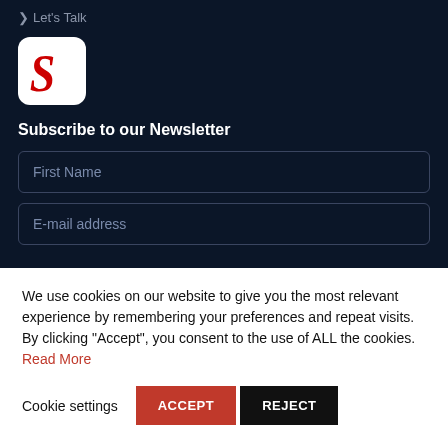> Let's Talk
[Figure (logo): White rounded square with a red italic S logo inside]
Subscribe to our Newsletter
First Name
E-mail address
We use cookies on our website to give you the most relevant experience by remembering your preferences and repeat visits. By clicking "Accept", you consent to the use of ALL the cookies. Read More
Cookie settings  ACCEPT  REJECT